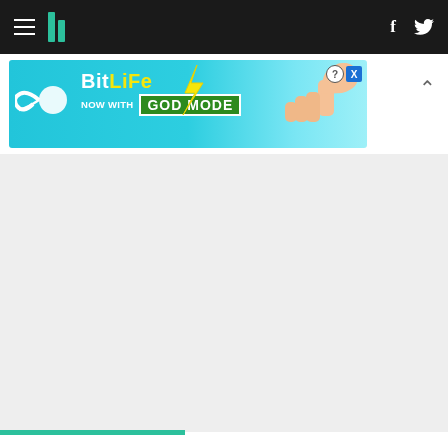HuffPost navigation with hamburger menu, logo, Facebook and Twitter icons
[Figure (screenshot): BitLife advertisement banner with cyan/blue gradient background, BitLife logo, 'NOW WITH GOD MODE' text, pointing hand graphic, and close buttons]
[Figure (screenshot): Gray placeholder content area below advertisement]
At a Leave.EU party in London in the early hours, Farage described June 23 as the UK's "Independence Day".
ADVERTISEMENT
[Figure (photo): Green foliage/nature photo strip at bottom of page]